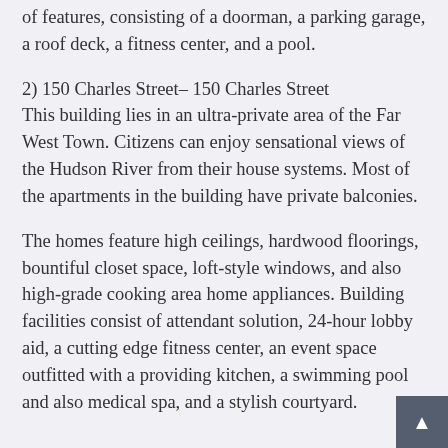of features, consisting of a doorman, a parking garage, a roof deck, a fitness center, and a pool.
2) 150 Charles Street– 150 Charles Street This building lies in an ultra-private area of the Far West Town. Citizens can enjoy sensational views of the Hudson River from their house systems. Most of the apartments in the building have private balconies.
The homes feature high ceilings, hardwood floorings, bountiful closet space, loft-style windows, and also high-grade cooking area home appliances. Building facilities consist of attendant solution, 24-hour lobby aid, a cutting edge fitness center, an event space outfitted with a providing kitchen, a swimming pool and also medical spa, and a stylish courtyard.